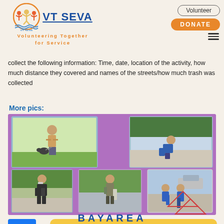VT SEVA — Volunteering Together for Service | Volunteer | DONATE
collect the following information: Time, date, location of the activity, how much distance they covered and names of the streets/how much trash was collected
More pics:
[Figure (photo): Photo collage on purple background showing 5 photos of volunteers picking up trash outdoors]
[Figure (logo): Facebook logo icon in blue square]
More info
BAYAREA